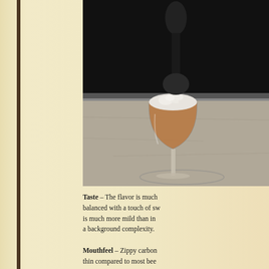[Figure (photo): A photo of a cocktail or beer in a coupe/goblet glass with a foamy white head, placed on a surface. The upper portion shows a dark background with what appears to be another glass or bar element. The lower portion shows the main glass with an amber/brown liquid and prominent white foam on top.]
Taste – The flavor is much balanced with a touch of sw is much more mild than in a background complexity.
Mouthfeel – Zippy carbon thin compared to most bee